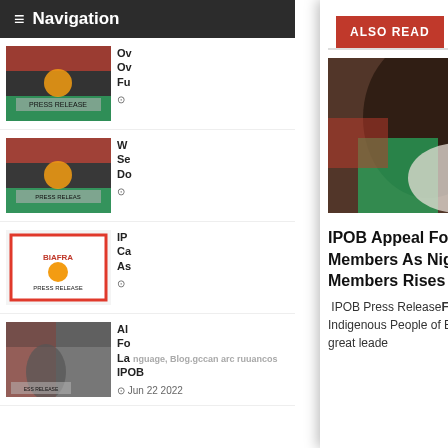≡ Navigation
[Figure (screenshot): IPOB Press Release thumbnail image 1 - crowd with Biafra flags]
Ov Ov Fu
[Figure (screenshot): IPOB Press Release thumbnail image 2 - crowd with Biafra flags]
W Se Do
[Figure (screenshot): IPOB Press Release thumbnail image 3 - white press release card]
IP Ca As
[Figure (screenshot): IPOB Press Release thumbnail image 4 - man with Biafra flag]
Al Fo La nguage, Blog.gccan arc ruuancos IPOB
Jun 22 2022
ALSO READ
[Figure (photo): Blurred close-up photo of person in crowd with Biafra flag colors, people in background]
IPOB Appeal For Foreign Protection Of Her Members As Nigeria Government Hunt For Members Rises
IPOB Press ReleaseFebruary 10 2021 | IPOBWe the Indigenous People of Biafra, IPOB, under the command of our great leade